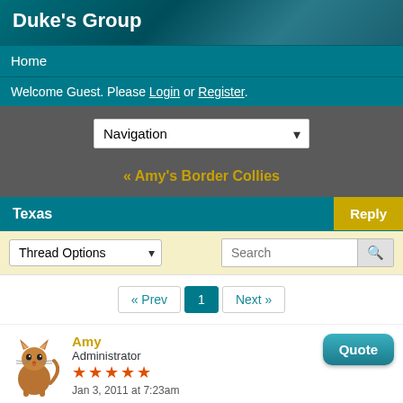Duke's Group
Home
Welcome Guest. Please Login or Register.
Navigation
« Amy's Border Collies
Texas
Reply
Thread Options
Search
« Prev  1  Next »
Amy
Administrator
★★★★★
Jan 3, 2011 at 7:23am
Quote
[Figure (illustration): Cat avatar illustration - cartoon orange/brown cat standing]